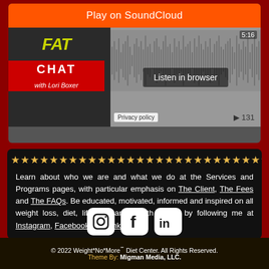[Figure (screenshot): SoundCloud podcast player widget showing 'Fat Chat with Lori Boxer' podcast. Orange 'Play on SoundCloud' button at top, waveform display, '5:16' duration, '131' plays, 'Listen in browser' button, 'Privacy policy' label.]
★★★★★★★★★★★★★★★★★★★★★★★★★★★
Learn about who we are and what we do at the Services and Programs pages, with particular emphasis on The Client, The Fees and The FAQs. Be educated, motivated, informed and inspired on all weight loss, diet, lifestyle, and health issues by following me at Instagram, Facebook and LinkedIn.
[Figure (illustration): Instagram, Facebook, and LinkedIn social media icons in white on dark rounded square backgrounds]
© 2022 Weight*No*More℠ Diet Center. All Rights Reserved. Theme By: Migman Media, LLC.